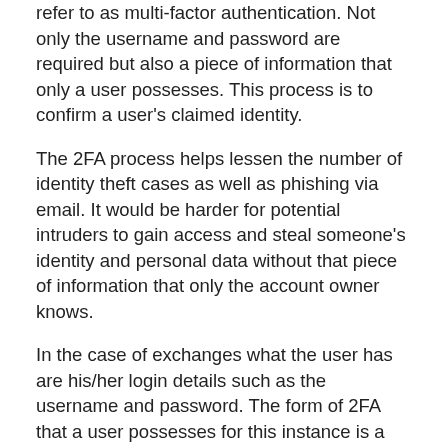refer to as multi-factor authentication. Not only the username and password are required but also a piece of information that only a user possesses. This process is to confirm a user's claimed identity.
The 2FA process helps lessen the number of identity theft cases as well as phishing via email. It would be harder for potential intruders to gain access and steal someone's identity and personal data without that piece of information that only the account owner knows.
In the case of exchanges what the user has are his/her login details such as the username and password. The form of 2FA that a user possesses for this instance is a token or code. The code can be received either through SMS on a user's mobile phone or via applications like Google Authenticator or Authy.
Click this if you want to know more about Authy. You can also download the app through the link provided.